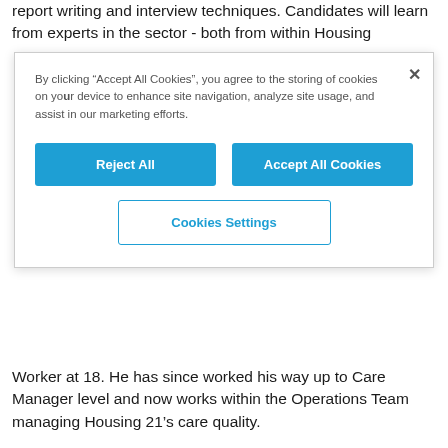report writing and interview techniques. Candidates will learn from experts in the sector - both from within Housing
By clicking “Accept All Cookies”, you agree to the storing of cookies on your device to enhance site navigation, analyze site usage, and assist in our marketing efforts.
Reject All | Accept All Cookies | Cookies Settings
Worker at 18. He has since worked his way up to Care Manager level and now works within the Operations Team managing Housing 21’s care quality.
He said: "The Extra Care Academy creates a development pipeline by investing in the sector’s top talent and the care leaders of the future, as well as challenging the